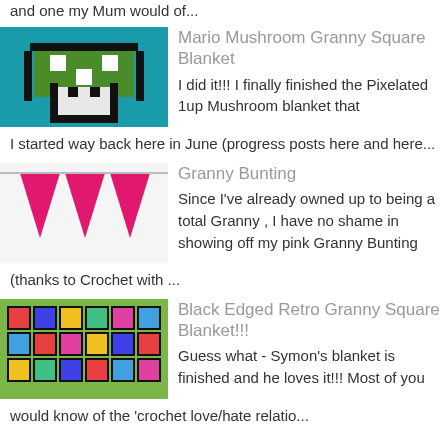and one my Mum would of...
Mario Mushroom Granny Square Blanket
I did it!!!  I finally finished the Pixelated 1up Mushroom blanket that I started way back here in June  (progress posts here and here...
[Figure (photo): Photo of a pixelated Mario 1up mushroom crochet blanket on blue background]
Granny Bunting
Since I've already owned up to being a total Granny , I have no shame in showing off my pink Granny Bunting (thanks to Crochet with ...
[Figure (photo): Photo of pink crochet granny bunting triangles on white background]
Black Edged Retro Granny Square Blanket!!!
Guess what - Symon's blanket is finished and he loves it!!!  Most of you would know of the 'crochet love/hate relatio...
[Figure (photo): Photo of colorful granny square crochet blanket with black edges laid outdoors]